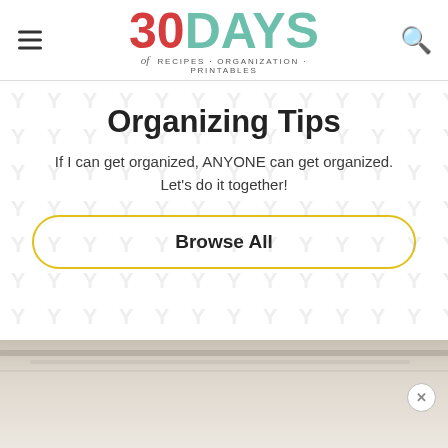30DAYS of RECIPES · ORGANIZATION · PRINTABLES
Organizing Tips
If I can get organized, ANYONE can get organized. Let's do it together!
Browse All
[Figure (photo): Bottom portion of a photo showing shelves or organized items in beige/neutral tones]